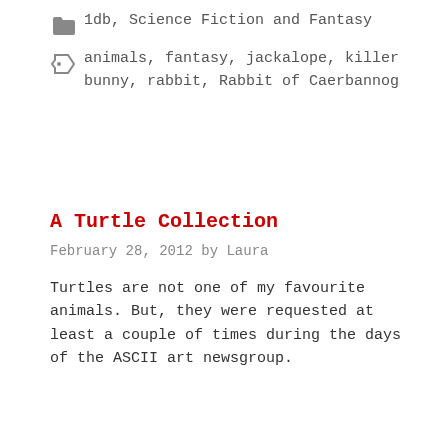1db, Science Fiction and Fantasy
animals, fantasy, jackalope, killer bunny, rabbit, Rabbit of Caerbannog
A Turtle Collection
February 28, 2012 by Laura
Turtles are not one of my favourite animals. But, they were requested at least a couple of times during the days of the ASCII art newsgroup.